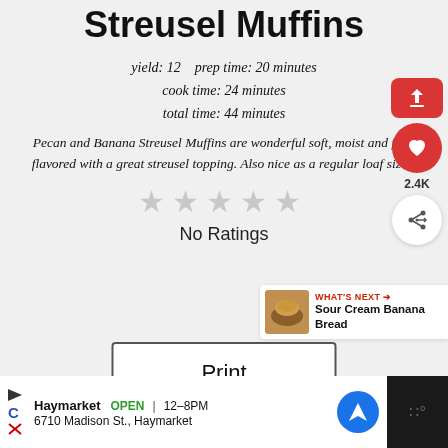Streusel Muffins
yield: 12   prep time: 20 minutes
cook time: 24 minutes
total time: 44 minutes
Pecan and Banana Streusel Muffins are wonderful soft, moist and full flavored with a great streusel topping. Also nice as a regular loaf size.
[Figure (other): Five empty star rating icons indicating no ratings]
No Ratings
Print
[Figure (other): WHAT'S NEXT arrow label with Sour Cream Banana Bread thumbnail and text]
Haymarket  OPEN  12–8PM  6710 Madison St., Haymarket